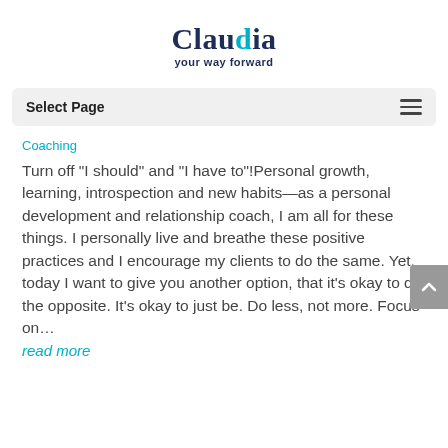[Figure (logo): Claudia your way forward logo — 'Claudia' in dark navy serif font with a cyan accent dot, subtitle 'your way forward' below]
Select Page
Coaching
Turn off "I should" and "I have to"!Personal growth, learning, introspection and new habits—as a personal development and relationship coach, I am all for these things. I personally live and breathe these positive practices and I encourage my clients to do the same. Yet, today I want to give you another option, that it's okay to do the opposite. It's okay to just be. Do less, not more. Focus on…
read more